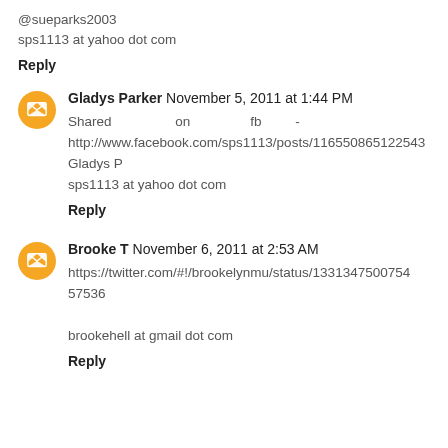@sueparks2003
sps1113 at yahoo dot com
Reply
Gladys Parker  November 5, 2011 at 1:44 PM
Shared on fb - http://www.facebook.com/sps1113/posts/116550865122543
Gladys P
sps1113 at yahoo dot com
Reply
Brooke T  November 6, 2011 at 2:53 AM
https://twitter.com/#!/brookelynmu/status/133134750075457536

brookehell at gmail dot com
Reply